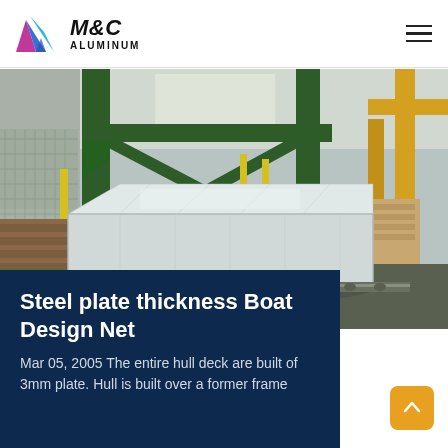M&C ALUMINUM
[Figure (photo): Industrial warehouse interior showing a large aluminum plate wrapped in plastic sheeting on a roller conveyor, with green steel columns, yellow safety posts, chain-link fencing, and stacked aluminum inventory in the background.]
Steel plate thickness Boat Design Net
Mar 05, 2005 The entire hull deck are built of 3mm plate. Hull is built over a former frame